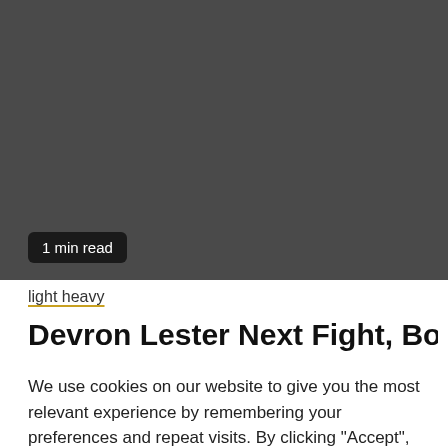[Figure (photo): Dark gray image area, partially visible article thumbnail]
1 min read
light heavy
Devron Lester Next Fight, Boxing
We use cookies on our website to give you the most relevant experience by remembering your preferences and repeat visits. By clicking “Accept”, you consent to the use of ALL the cookies.
Cookie settings
ACCEPT